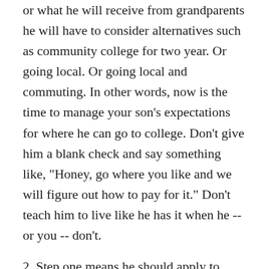or what he will receive from grandparents he will have to consider alternatives such as community college for two year. Or going local. Or going local and commuting. In other words, now is the time to manage your son's expectations for where he can go to college. Don't give him a blank check and say something like, "Honey, go where you like and we will figure out how to pay for it." Don't teach him to live like he has it when he -- or you -- don't.
2. Step one means he should apply to schools that fit your budget. If there aren't any local schools that fit his desired major or interest have him look in areas where you have relatives he could live with while in college to help reduce costs.